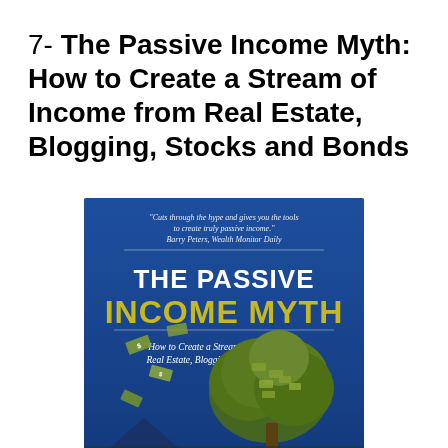7- The Passive Income Myth: How to Create a Stream of Income from Real Estate, Blogging, Stocks and Bonds
[Figure (illustration): Book cover of 'The Passive Income Myth: How to Create a Stream of Income from Real Estate, Blogging, Stocks and Bonds'. Blue background with a tree made of money/cash at the bottom right, flying dollar bills, a house silhouette at bottom left. White text reads 'THE PASSIVE INCOME MYTH' with yellow text 'INCOME MYTH'. Subtitle in white italic text. Top quote: 'Cuts through the hype and gives you the tools to create truly passive income.' Barry Peters, Wealth Monitor Daily.]